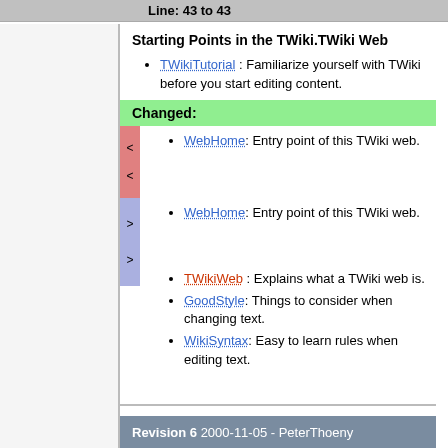Line: 43 to 43
Starting Points in the TWiki.TWiki Web
TWikiTutorial : Familiarize yourself with TWiki before you start editing content.
Changed:
WebHome: Entry point of this TWiki web.
WebHome: Entry point of this TWiki web.
TWikiWeb : Explains what a TWiki web is.
GoodStyle: Things to consider when changing text.
WikiSyntax: Easy to learn rules when editing text.
Revision 6 2000-11-05 - PeterThoeny